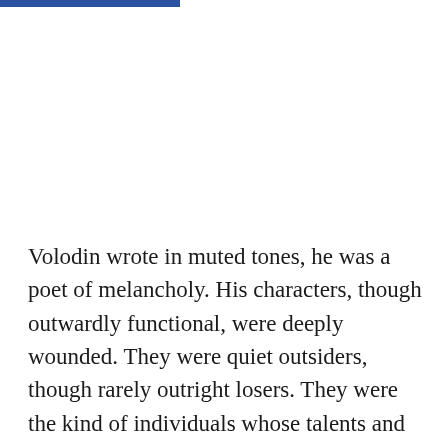Volodin wrote in muted tones, he was a poet of melancholy. His characters, though outwardly functional, were deeply wounded. They were quiet outsiders, though rarely outright losers. They were the kind of individuals whose talents and special qualities would easily go unnoticed by others who were busy with daily routines. The world around them was gray and incapable of appreciating the colors that